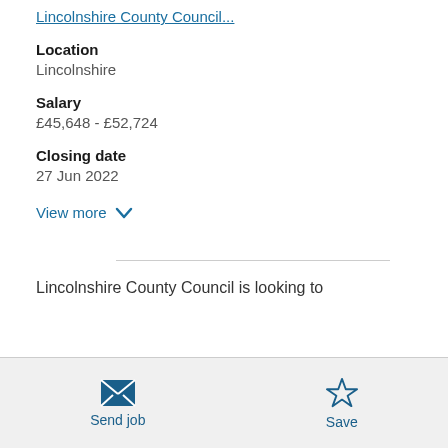Lincolnshire County Council (truncated/partial link)
Location
Lincolnshire
Salary
£45,648 - £52,724
Closing date
27 Jun 2022
View more ∨
Lincolnshire County Council is looking to
Send job
Save